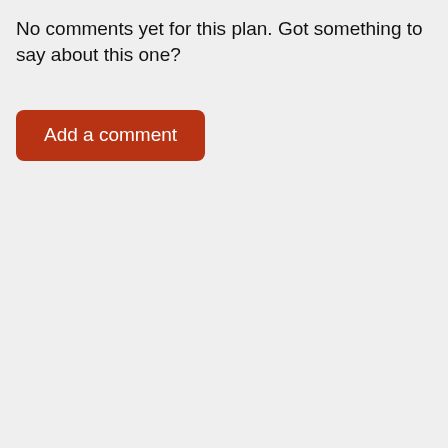No comments yet for this plan. Got something to say about this one?
[Figure (other): A red/dark-orange rounded button labeled 'Add a comment']